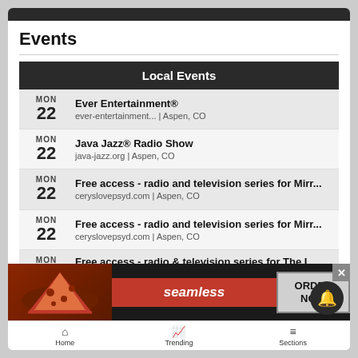Events
Local Events
MON 22 Ever Entertainment® | ever-entertainment... | Aspen, CO
MON 22 Java Jazz® Radio Show | java-jazz.org | Aspen, CO
MON 22 Free access - radio and television series for Mirr... | ceryslovepsyd.com | Aspen, CO
MON 22 Free access - radio and television series for Mirr... | ceryslovepsyd.com | Aspen, CO
MON 22 Free access - radio & television series for The L...
[Figure (screenshot): Seamless food delivery advertisement banner with pizza image, red Seamless logo, and ORDER NOW button]
Home | Trending | Sections